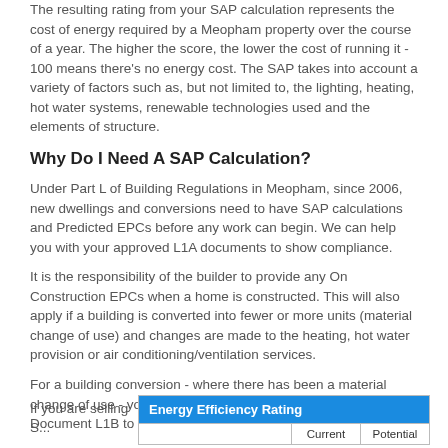The resulting rating from your SAP calculation represents the cost of energy required by a Meopham property over the course of a year. The higher the score, the lower the cost of running it - 100 means there's no energy cost. The SAP takes into account a variety of factors such as, but not limited to, the lighting, heating, hot water systems, renewable technologies used and the elements of structure.
Why Do I Need A SAP Calculation?
Under Part L of Building Regulations in Meopham, since 2006, new dwellings and conversions need to have SAP calculations and Predicted EPCs before any work can begin. We can help you with your approved L1A documents to show compliance.
It is the responsibility of the builder to provide any On Construction EPCs when a home is constructed. This will also apply if a building is converted into fewer or more units (material change of use) and changes are made to the heating, hot water provision or air conditioning/ventilation services.
For a building conversion - where there has been a material change of use - you will need to show compliance with Approved Document L1B to Building Control in Meopham.
A TER DER Calculation can be undertaken for anyone from estate agents and home owners to energy companies and landlords. If you're unsure on anything related to your SAP calc then don't hesitate to get in touch and our SAP team will help point you in the right direction.
If you are selling S...
[Figure (other): Energy Efficiency Rating box with blue header and columns for Current and Potential]